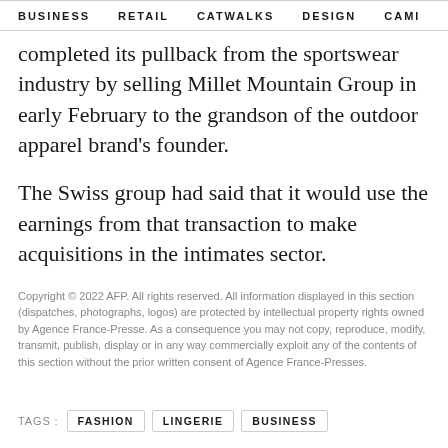BUSINESS   RETAIL   CATWALKS   DESIGN   CAMI >
completed its pullback from the sportswear industry by selling Millet Mountain Group in early February to the grandson of the outdoor apparel brand's founder.
The Swiss group had said that it would use the earnings from that transaction to make acquisitions in the intimates sector.
Copyright © 2022 AFP. All rights reserved. All information displayed in this section (dispatches, photographs, logos) are protected by intellectual property rights owned by Agence France-Presse. As a consequence you may not copy, reproduce, modify, transmit, publish, display or in any way commercially exploit any of the contents of this section without the prior written consent of Agence France-Presses.
TAGS:  FASHION  LINGERIE  BUSINESS